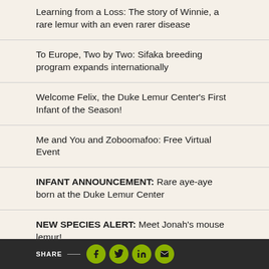Learning from a Loss: The story of Winnie, a rare lemur with an even rarer disease
To Europe, Two by Two: Sifaka breeding program expands internationally
Welcome Felix, the Duke Lemur Center's First Infant of the Season!
Me and You and Zoboomafoo: Free Virtual Event
INFANT ANNOUNCEMENT: Rare aye-aye born at the Duke Lemur Center
NEW SPECIES ALERT: Meet Jonah's mouse lemur!
INFANT ANNOUNCEMENT: [truncated] ...ffed [partial text continues below]
SHARE — [social icons: Facebook, Twitter, LinkedIn, Email]